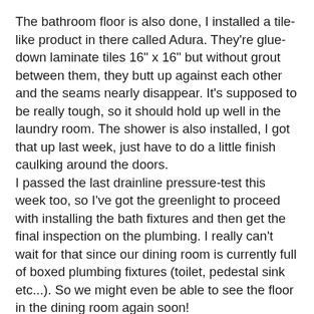The bathroom floor is also done, I installed a tile-like product in there called Adura. They're glue-down laminate tiles 16" x 16" but without grout between them, they butt up against each other and the seams nearly disappear. It's supposed to be really tough, so it should hold up well in the laundry room. The shower is also installed, I got that up last week, just have to do a little finish caulking around the doors.
I passed the last drainline pressure-test this week too, so I've got the greenlight to proceed with installing the bath fixtures and then get the final inspection on the plumbing. I really can't wait for that since our dining room is currently full of boxed plumbing fixtures (toilet, pedestal sink etc...). So we might even be able to see the floor in the dining room again soon!
The final tie-in joint on the drain line continues to plague me. The inspector didn't like the reducing fitting I used, said it had to be reinforced with a stainless mesh since I'm installing it above ground, then proceeded to inform me that he had never seen a pipe like the one I'm trying to connect to, so he didn't even know how I should do it. Big help there.
Well... The only fittings approved for above ground connections between cast iron and PVC are straight...